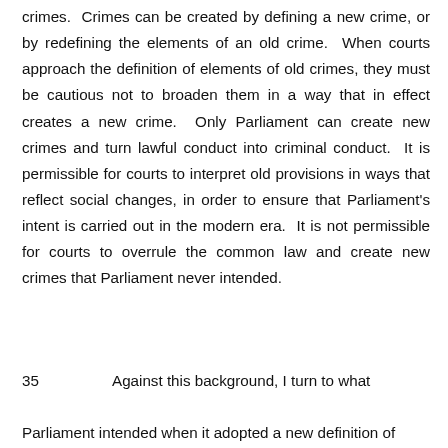crimes.  Crimes can be created by defining a new crime, or by redefining the elements of an old crime.  When courts approach the definition of elements of old crimes, they must be cautious not to broaden them in a way that in effect creates a new crime.  Only Parliament can create new crimes and turn lawful conduct into criminal conduct.  It is permissible for courts to interpret old provisions in ways that reflect social changes, in order to ensure that Parliament's intent is carried out in the modern era.  It is not permissible for courts to overrule the common law and create new crimes that Parliament never intended.
35    Against this background, I turn to what Parliament intended when it adopted a new definition of